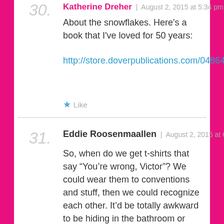30.
Katherine Dreher | August 2, 2015 at 5:34 pm
About the snowflakes. Here's a book that I've loved for 50 years:
http://store.doverpublications.com/0486412539.html
Like
31.
Eddie Roosenmaallen | August 2, 2015 at 6:07 pm
So, when do we get t-shirts that say “You’re wrong, Victor”? We could wear them to conventions and stuff, then we could recognize each other. It’d be totally awkward to be hiding in the bathroom or under a desk and see someone else hiding and be all “oh, you’re a Lawsbian too!” and then find out that no, they’re selling